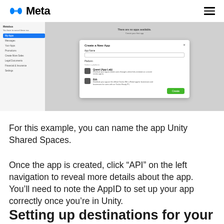Meta
[Figure (screenshot): Meta developer dashboard screenshot showing a 'Create a New App' modal dialog with App Name field, Platform selection showing 'Quest (App Lab)' and 'Rift' options, and a Create button.]
For this example, you can name the app Unity Shared Spaces.
Once the app is created, click “API” on the left navigation to reveal more details about the app. You’ll need to note the AppID to set up your app correctly once you’re in Unity.
Setting up destinations for your